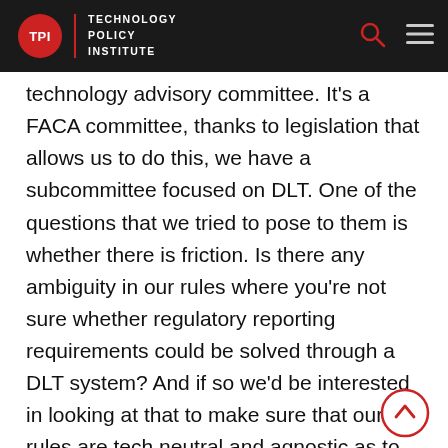TPI Technology Policy Institute
technology advisory committee. It's a FACA committee, thanks to legislation that allows us to do this, we have a subcommittee focused on DLT. One of the questions that we tried to pose to them is whether there is friction. Is there any ambiguity in our rules where you're not sure whether regulatory reporting requirements could be solved through a DLT system? And if so we'd be interested in looking at that to make sure that our rules are tech neutral and agnostic as to how you're satisfying the requirements. I think there are opportunities too, for these kinds of conversations with the agencies to, to look at the rule sets, figure out where the technology